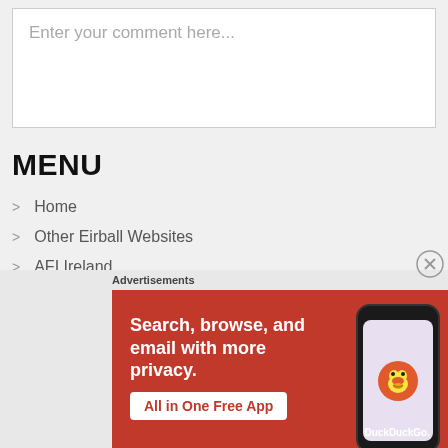Enter your comment here...
MENU
Home
Other Eirball Websites
AFI Ireland
Irish American Football
Irish International Football
Irish 8v8 American Football
Advertisements
[Figure (infographic): DuckDuckGo advertisement: orange background with text 'Search, browse, and email with more privacy. All in One Free App' and a smartphone image with DuckDuckGo logo]